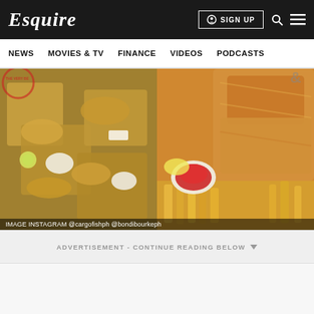Esquire
NEWS   MOVIES & TV   FINANCE   VIDEOS   PODCASTS
[Figure (photo): Two food photos side by side: left shows fish and chips in wooden trays with white dipping sauces; right shows golden battered fish and chips with a red ketchup dipping cup]
IMAGE INSTAGRAM @cargofishph @bondibourkeph
ADVERTISEMENT - CONTINUE READING BELOW
Fish and Chips...